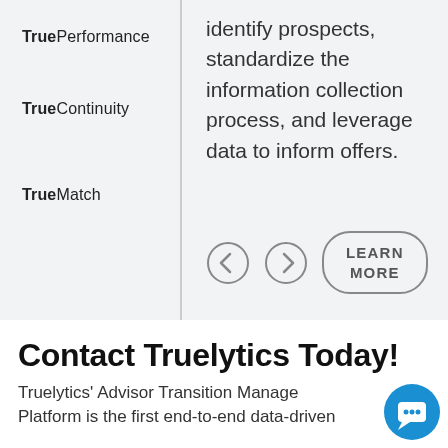TruePerformance
TrueContinuity
TrueMatch
identify prospects, standardize the information collection process, and leverage data to inform offers.
[Figure (other): Navigation left/right arrow buttons and a LEARN MORE button]
Contact Truelytics Today!
Truelytics' Advisor Transition Management Platform is the first end-to-end data-driven